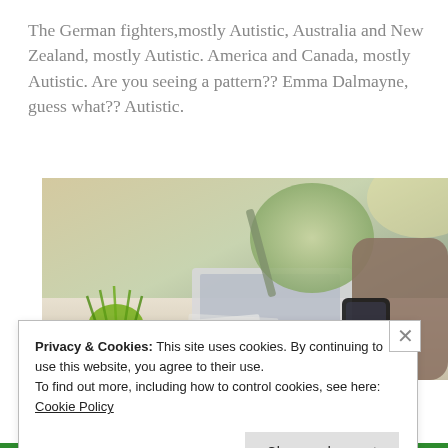The German fighters,mostly Autistic, Australia and New Zealand, mostly Autistic. America and Canada, mostly Autistic. Are you seeing a pattern?? Emma Dalmayne, guess what?? Autistic.
[Figure (photo): Person working at a desk with a laptop and smartphone, with a small green plant and a lamp visible in the background.]
Privacy & Cookies: This site uses cookies. By continuing to use this website, you agree to their use.
To find out more, including how to control cookies, see here: Cookie Policy
Close and accept